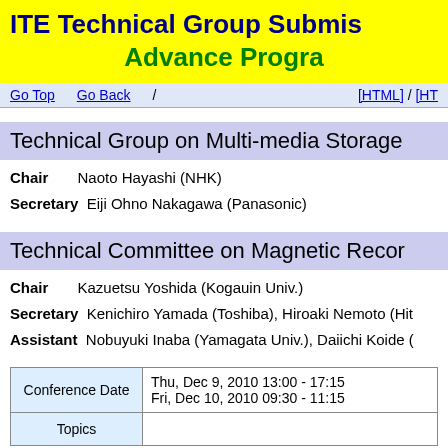ITE Technical Group Submission Advance Program
Go Top   Go Back   /   [HTML] / [HT...]
Technical Group on Multi-media Storage
Chair: Naoto Hayashi (NHK)
Secretary: Eiji Ohno Nakagawa (Panasonic)
Technical Committee on Magnetic Recording
Chair: Kazuetsu Yoshida (Kogauin Univ.)
Secretary: Kenichiro Yamada (Toshiba), Hiroaki Nemoto (Hit...)
Assistant: Nobuyuki Inaba (Yamagata Univ.), Daiichi Koide (...)
|  |  |
| --- | --- |
| Conference Date | Thu, Dec 9, 2010 13:00 - 17:15
Fri, Dec 10, 2010 09:30 - 11:15 |
| Topics |  |